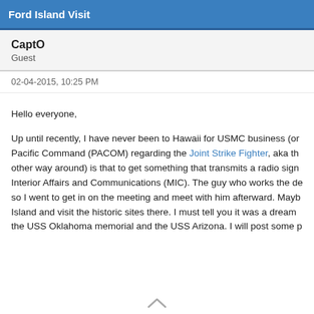Ford Island Visit
CaptO
Guest
02-04-2015, 10:25 PM
Hello everyone,

Up until recently, I have never been to Hawaii for USMC business (or Pacific Command (PACOM) regarding the Joint Strike Fighter, aka th other way around) is that to get something that transmits a radio sign Interior Affairs and Communications (MIC). The guy who works the d so I went to get in on the meeting and meet with him afterward. Mayb Island and visit the historic sites there. I must tell you it was a dream the USS Oklahoma memorial and the USS Arizona. I will post some p